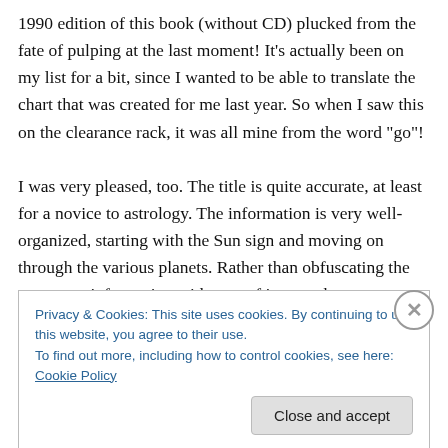1990 edition of this book (without CD) plucked from the fate of pulping at the last moment! It's actually been on my list for a bit, since I wanted to be able to translate the chart that was created for me last year. So when I saw this on the clearance rack, it was all mine from the word “go”!

I was very pleased, too. The title is quite accurate, at least for a novice to astrology. The information is very well-organized, starting with the Sun sign and moving on through the various planets. Rather than obfuscating the necessary information with tons of jargon, the
Privacy & Cookies: This site uses cookies. By continuing to use this website, you agree to their use.
To find out more, including how to control cookies, see here: Cookie Policy